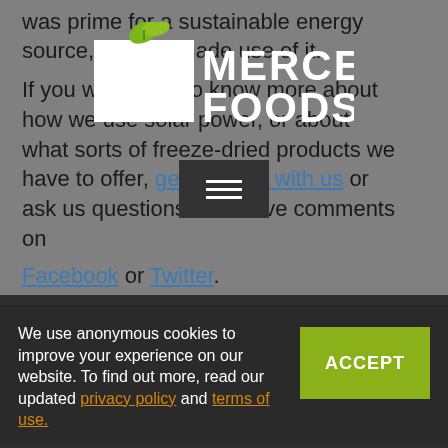was prime for a sustainable energy source, and we made use of it.
If you would like to know more about how we use solar power, or about what sorts of freeze-dried products we have to offer, get in touch with us or ask us questions and leave comments on Facebook or Twitter.
[Figure (logo): Mercer Foods logo with green leaf M and white text MERCER FOODS on gray background]
[Figure (other): Dark menu button with three horizontal white lines (hamburger menu icon)]
CATEGORIES
BLOG
PRESS RELEASE
We use anonymous cookies to improve your experience on our website. To find out more, read our updated privacy policy and terms of use.